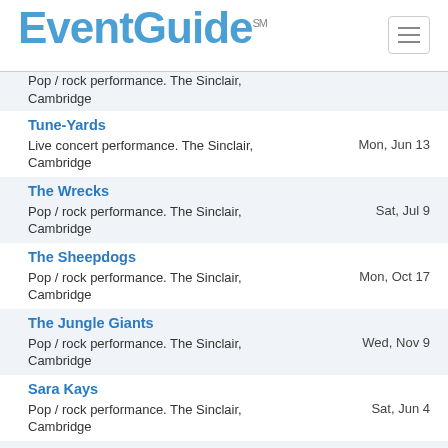EventGuide℠
Pop / rock performance. The Sinclair, Cambridge
Tune-Yards
Live concert performance. The Sinclair, Cambridge | Mon, Jun 13
The Wrecks
Pop / rock performance. The Sinclair, Cambridge | Sat, Jul 9
The Sheepdogs
Pop / rock performance. The Sinclair, Cambridge | Mon, Oct 17
The Jungle Giants
Pop / rock performance. The Sinclair, Cambridge | Wed, Nov 9
Sara Kays
Pop / rock performance. The Sinclair, Cambridge | Sat, Jun 4
Rolling Blackouts Coastal Fever
Live concert performance. The Sinclair, Cambridge | Wed, Aug 3
Robert Earl Keen